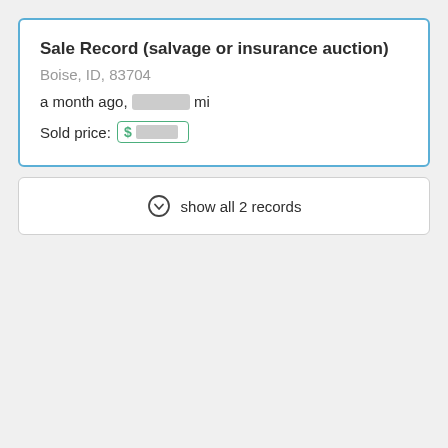Sale Record (salvage or insurance auction)
Boise, ID, 83704
a month ago, [redacted] mi
Sold price: $[redacted]
show all 2 records